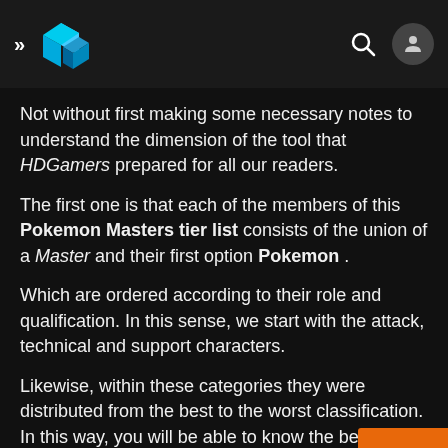>> [logo] [search icon] [user icon]
Not without first making some necessary notes to understand the dimension of the tool that HDGamers prepared for all our readers.
The first one is that each of the members of this Pokemon Masters tier list consists of the union of a Master and their first option Pokemon .
Which are ordered according to their role and qualification. In this sense, we start with the attack, technical and support characters.
Likewise, within these categories they were distributed from the best to the worst classification. In this way, you will be able to know the best options for each fundamental role of the game. These categories are the following